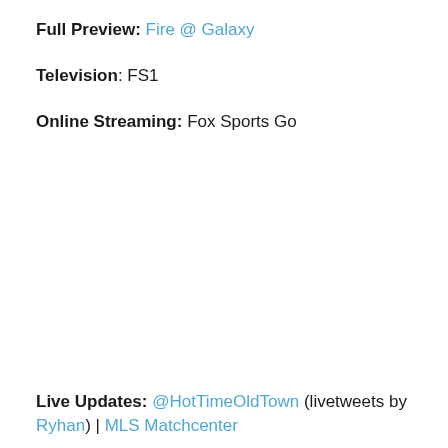Full Preview: Fire @ Galaxy
Television: FS1
Online Streaming: Fox Sports Go
Live Updates: @HotTimeOldTown (livetweets by Ryhan) | MLS Matchcenter